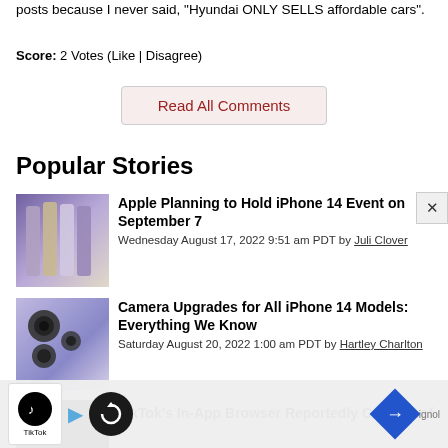posts because I never said, "Hyundai ONLY SELLS affordable cars".
Score: 2 Votes (Like | Disagree)
Read All Comments
Popular Stories
[Figure (photo): iPhone 14 lineup showing multiple colors (gold, silver, purple)]
Apple Planning to Hold iPhone 14 Event on September 7
Wednesday August 17, 2022 9:51 am PDT by Juli Clover
[Figure (photo): iPhone 14 camera system close-up in purple]
Camera Upgrades for All iPhone 14 Models: Everything We Know
Saturday August 20, 2022 1:00 am PDT by Hartley Charlton
[Figure (photo): TikTok app icon on dark background]
TikTok's In-App Browser Reportedly Capable of
[Figure (screenshot): TikTok advertisement overlay with play button, loop icon, and navigation icon]